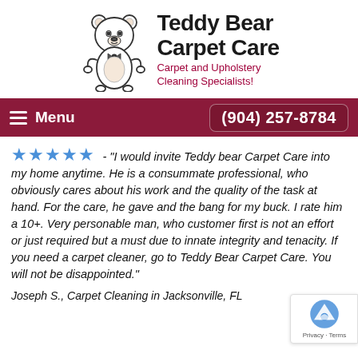[Figure (logo): Teddy Bear Carpet Care logo with cartoon teddy bear and company name text]
Menu   (904) 257-8784
★★★★★ - "I would invite Teddy bear Carpet Care into my home anytime. He is a consummate professional, who obviously cares about his work and the quality of the task at hand. For the care, he gave and the bang for my buck. I rate him a 10+. Very personable man, who customer first is not an effort or just required but a must due to innate integrity and tenacity. If you need a carpet cleaner, go to Teddy Bear Carpet Care. You will not be disappointed."
Joseph S., Carpet Cleaning in Jacksonville, FL